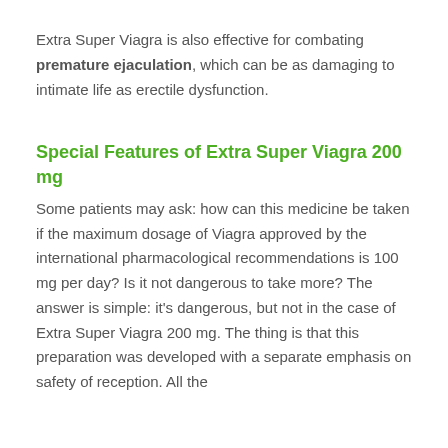Extra Super Viagra is also effective for combating premature ejaculation, which can be as damaging to intimate life as erectile dysfunction.
Special Features of Extra Super Viagra 200 mg
Some patients may ask: how can this medicine be taken if the maximum dosage of Viagra approved by the international pharmacological recommendations is 100 mg per day? Is it not dangerous to take more? The answer is simple: it's dangerous, but not in the case of Extra Super Viagra 200 mg. The thing is that this preparation was developed with a separate emphasis on safety of reception. All the